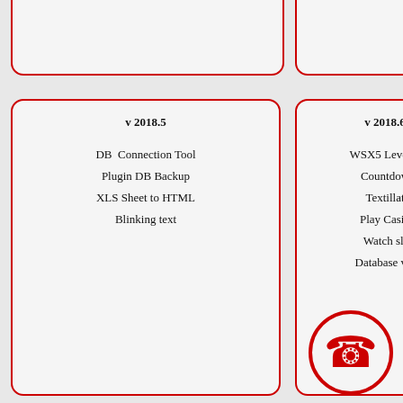v 2018.5
DB  Connection Tool
Plugin DB Backup
XLS Sheet to HTML
Blinking text
v 2018.6
WSX5 Level-2
Countdown
Textillate
Play Casino
Watch slideshow
Database viewer
[Figure (illustration): Red circle with a phone receiver icon inside]